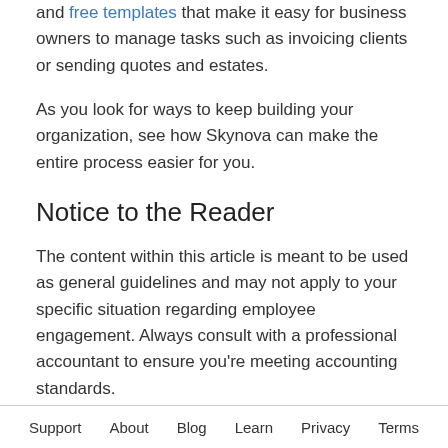there a wealth of opportunities, such as a learning center and free templates that make it easy for business owners to manage tasks such as invoicing clients or sending quotes and estates.
As you look for ways to keep building your organization, see how Skynova can make the entire process easier for you.
Notice to the Reader
The content within this article is meant to be used as general guidelines and may not apply to your specific situation regarding employee engagement. Always consult with a professional accountant to ensure you're meeting accounting standards.
Support   About   Blog   Learn   Privacy   Terms